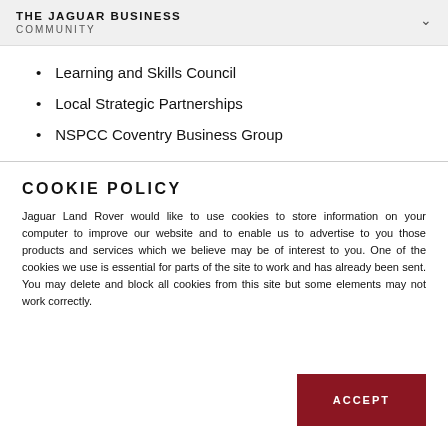THE JAGUAR BUSINESS COMMUNITY
Learning and Skills Council
Local Strategic Partnerships
NSPCC Coventry Business Group
COOKIE POLICY
Jaguar Land Rover would like to use cookies to store information on your computer to improve our website and to enable us to advertise to you those products and services which we believe may be of interest to you. One of the cookies we use is essential for parts of the site to work and has already been sent. You may delete and block all cookies from this site but some elements may not work correctly.
ACCEPT